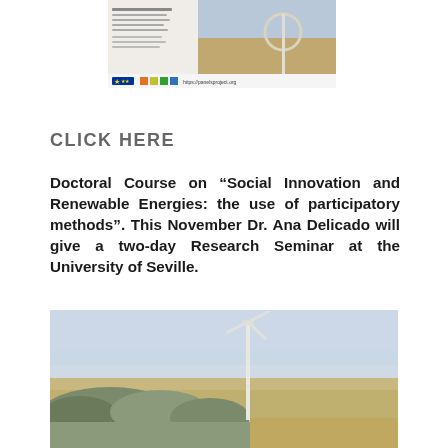[Figure (photo): Brochure/document cover image for a project, appears to show a wind turbine monument or sculpture, with EU logo and project website at bottom]
CLICK HERE
Doctoral Course on “Social Innovation and Renewable Energies: the use of participatory methods”. This November Dr. Ana Delicado will give a two-day Research Seminar at the University of Seville.
[Figure (photo): Photograph of a wind turbine in a landscape with trees in the foreground and a plain/valley in the background under a hazy sky]